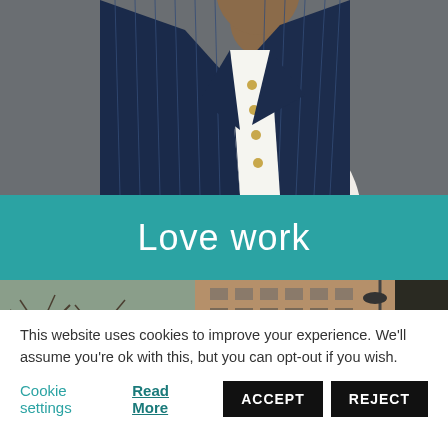[Figure (photo): Upper body of a person wearing a navy blue pinstripe suit jacket over a white shirt with gold buttons, photographed against a gray background]
Love work
[Figure (photo): Outdoor cityscape photograph showing a multi-story brick office building with bare trees in the foreground on a winter day]
This website uses cookies to improve your experience. We'll assume you're ok with this, but you can opt-out if you wish.
Cookie settings   Read More   ACCEPT   REJECT